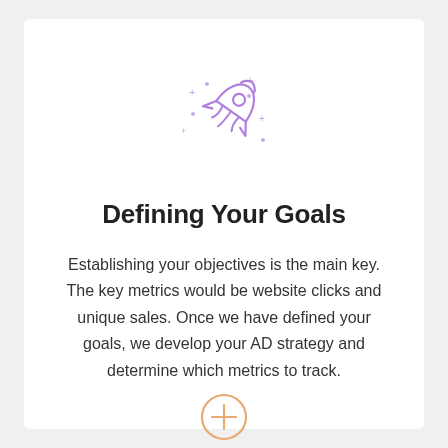[Figure (illustration): Purple outline rocket ship icon with decorative plus/cross sparkle marks around it, centered at top of card]
Defining Your Goals
Establishing your objectives is the main key. The key metrics would be website clicks and unique sales. Once we have defined your goals, we develop your AD strategy and determine which metrics to track.
[Figure (illustration): Orange/peach circle with a plus sign icon, partially visible at the bottom center of the card]